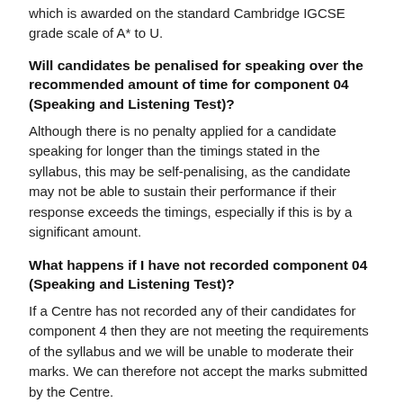which is awarded on the standard Cambridge IGCSE grade scale of A* to U.
Will candidates be penalised for speaking over the recommended amount of time for component 04 (Speaking and Listening Test)?
Although there is no penalty applied for a candidate speaking for longer than the timings stated in the syllabus, this may be self-penalising, as the candidate may not be able to sustain their performance if their response exceeds the timings, especially if this is by a significant amount.
What happens if I have not recorded component 04 (Speaking and Listening Test)?
If a Centre has not recorded any of their candidates for component 4 then they are not meeting the requirements of the syllabus and we will be unable to moderate their marks. We can therefore not accept the marks submitted by the Centre.